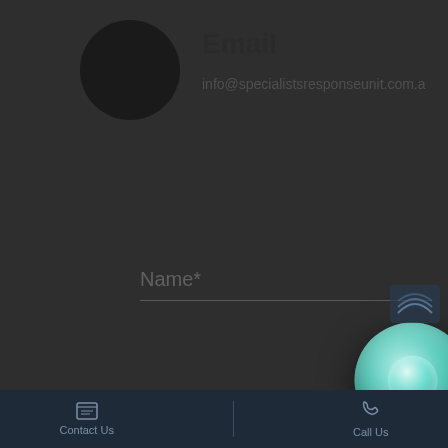[Figure (illustration): Dark circle/avatar placeholder on the left side of the header area]
Email
info@specialistsresponseunit.com.a
Name*
[Figure (illustration): Teal/mint 3D glossy orb button in the center of the page]
Email
Phone
[Figure (logo): Small logo in bottom right corner]
Contact Us   Call Us